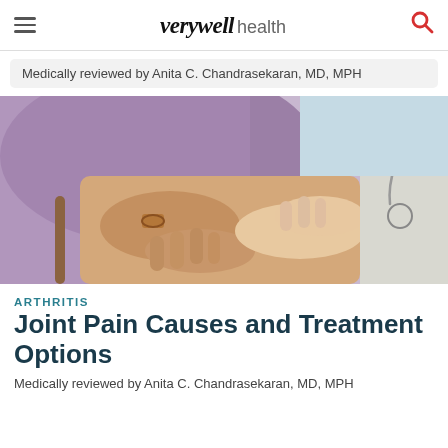verywell health
Medically reviewed by Anita C. Chandrasekaran, MD, MPH
[Figure (photo): A doctor examining an elderly patient's hand joints, with one hand holding the patient's wrist and another examining the fingers. Patient is wearing a purple cardigan. Doctor is wearing a white coat with a stethoscope visible.]
ARTHRITIS
Joint Pain Causes and Treatment Options
Medically reviewed by Anita C. Chandrasekaran, MD, MPH